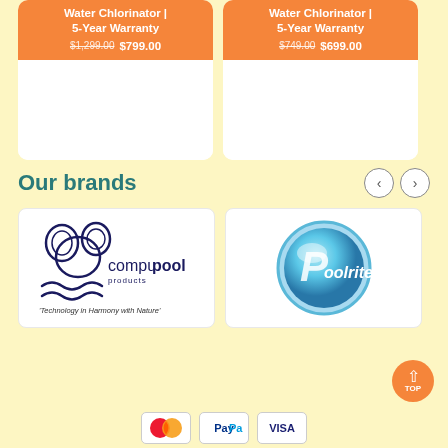[Figure (other): Water Chlorinator 5-Year Warranty product card with orange header showing strikethrough price $1,299.00 and sale price $799.00]
[Figure (other): Water Chlorinator 5-Year Warranty product card with orange header showing strikethrough price $749.00 and sale price $699.00]
Our brands
[Figure (logo): Compupool products logo with koala graphic and tagline 'Technology in Harmony with Nature']
[Figure (logo): Poolrite circular logo with blue sphere design]
[Figure (other): Payment icons: Mastercard, PayPal, Visa]